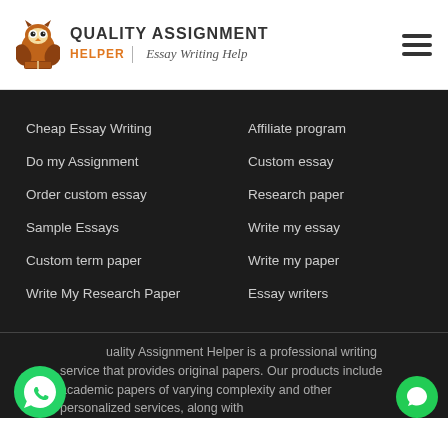QUALITY ASSIGNMENT HELPER | Essay Writing Help
Cheap Essay Writing
Do my Assignment
Order custom essay
Sample Essays
Custom term paper
Write My Research Paper
Affiliate program
Custom essay
Research paper
Write my essay
Write my paper
Essay writers
Quality Assignment Helper is a professional writing service that provides original papers. Our products include academic papers of varying complexity and other personalized services, along with